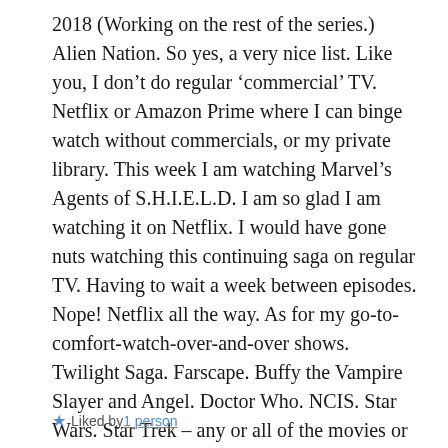2018 (Working on the rest of the series.) Alien Nation. So yes, a very nice list. Like you, I don't do regular 'commercial' TV. Netflix or Amazon Prime where I can binge watch without commercials, or my private library. This week I am watching Marvel's Agents of S.H.I.E.L.D. I am so glad I am watching it on Netflix. I would have gone nuts watching this continuing saga on regular TV. Having to wait a week between episodes. Nope! Netflix all the way. As for my go-to-comfort-watch-over-and-over shows. Twilight Saga. Farscape. Buffy the Vampire Slayer and Angel. Doctor Who. NCIS. Star Wars. Star Trek – any or all of the movies or series.
Liked by 1 person